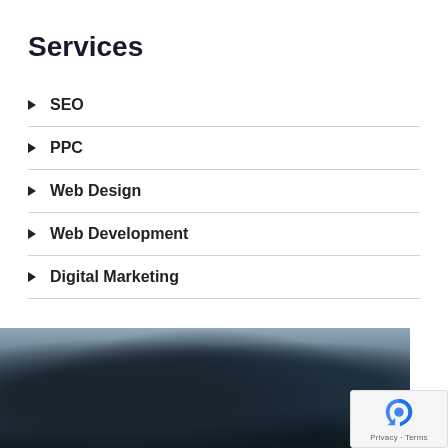Services
SEO
PPC
Web Design
Web Development
Digital Marketing
Contact Us
[Figure (photo): Blurred office/workspace photo showing computers and people in background, dark tones]
Privacy · Terms